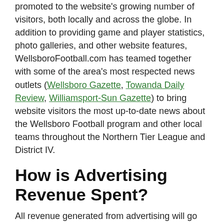promoted to the website's growing number of visitors, both locally and across the globe. In addition to providing game and player statistics, photo galleries, and other website features, WellsboroFootball.com has teamed together with some of the area's most respected news outlets (Wellsboro Gazette, Towanda Daily Review, Williamsport-Sun Gazette) to bring website visitors the most up-to-date news about the Wellsboro Football program and other local teams throughout the Northern Tier League and District IV.
How is Advertising Revenue Spent?
All revenue generated from advertising will go directly to the program to fund camps, special events, equipment purchases, senior gifts, end-of-season highlight videos,